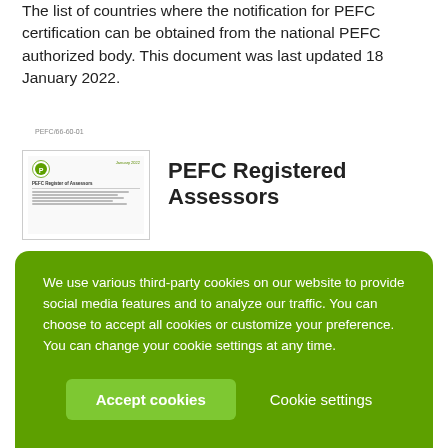The list of countries where the notification for PEFC certification can be obtained from the national PEFC authorized body. This document was last updated 18 January 2022.
[Figure (screenshot): Thumbnail preview of a PEFC document with logo and text lines]
PEFC Registered Assessors
We use various third-party cookies on our website to provide social media features and to analyze our traffic. You can choose to accept all cookies or customize your preference. You can change your cookie settings at any time.
Accept cookies
Cookie settings